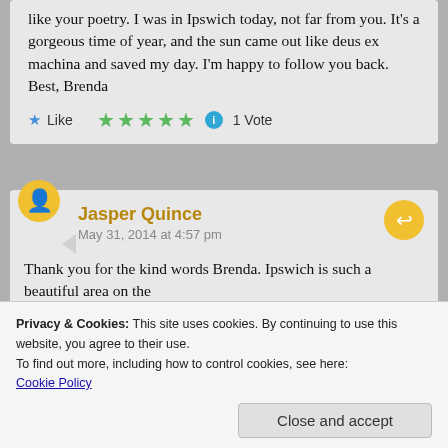like your poetry. I was in Ipswich today, not far from you. It's a gorgeous time of year, and the sun came out like deus ex machina and saved my day. I'm happy to follow you back. Best, Brenda
★ Like ★★★★★ ⓘ 1 Vote
Jasper Quince
May 31, 2014 at 4:57 pm
Thank you for the kind words Brenda. Ipswich is such a beautiful area on the
Privacy & Cookies: This site uses cookies. By continuing to use this website, you agree to their use.
To find out more, including how to control cookies, see here:
Cookie Policy
Close and accept